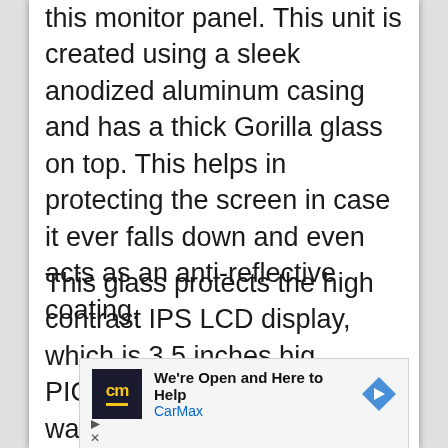this monitor panel. This unit is created using a sleek anodized aluminum casing and has a thick Gorilla glass on top. This helps in protecting the screen in case it ever falls down and even acts as an anti-reflective coating.
This glass protects the high contrast IPS LCD display, which is 3.5 inches big. PICO’s is a dust and waterproof monitor panel and can be mounted easily indoors as well as outdoors without any worry. The brightness of
[Figure (other): CarMax advertisement banner: dark square logo with 'cm' text in yellow, text 'We’re Open and Here to Help' and 'CarMax' in blue, with a blue diamond-shaped arrow icon on the right. Below are play and close controls.]